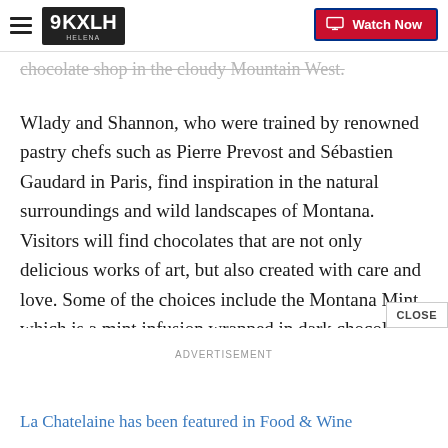9KXLH Helena | Watch Now
chocolate shop in the cloudy Mountain West.
Wlady and Shannon, who were trained by renowned pastry chefs such as Pierre Prevost and Sébastien Gaudard in Paris, find inspiration in the natural surroundings and wild landscapes of Montana. Visitors will find chocolates that are not only delicious works of art, but also created with care and love. Some of the choices include the Montana Mint, which is a mint infusion wrapped in dark chocolate and topped with candied mint, or the Port Wine, which is tawny port in a dark chocolate ganache and sprinkled with cocoa
powder.
ADVERTISEMENT
La Chatelaine has been featured in Food & Wine